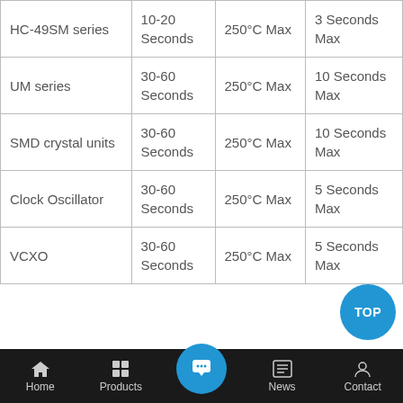| HC-49SM series | 10-20 Seconds | 250°C Max | 3 Seconds Max |
| UM series | 30-60 Seconds | 250°C Max | 10 Seconds Max |
| SMD crystal units | 30-60 Seconds | 250°C Max | 10 Seconds Max |
| Clock Oscillator | 30-60 Seconds | 250°C Max | 5 Seconds Max |
| VCXO | 30-60 Seconds | 250°C Max | 5 Seconds Max |
Home | Products | (chat) | News | Contact